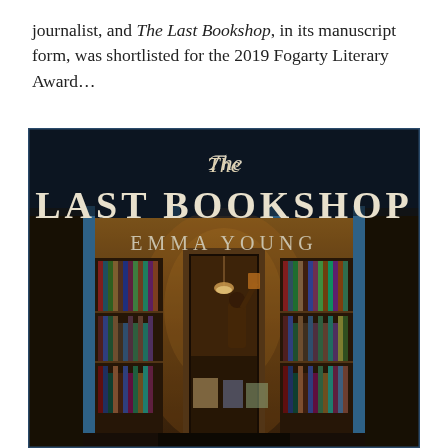journalist, and The Last Bookshop, in its manuscript form, was shortlisted for the 2019 Fogarty Literary Award…
[Figure (illustration): Book cover of 'The Last Bookshop' by Emma Young. Dark navy background with a photograph of a cozy bookshop storefront at dusk, shelves of books visible through large glass windows, a person reaching for a book on a high shelf visible inside. Overlaid text reads 'The' in cursive script at the top, then 'LAST BOOKSHOP' in large serif capitals, then 'EMMA YOUNG' in spaced serif capitals.]